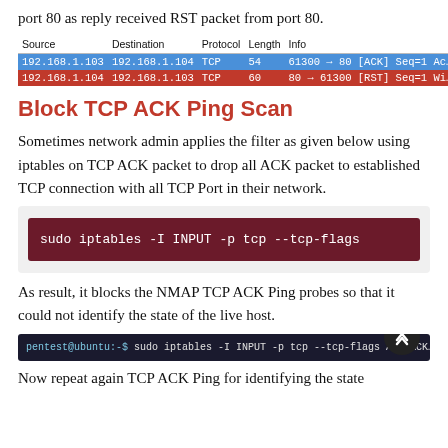port 80 as reply received RST packet from port 80.
| Source | Destination | Protocol | Length | Info |  |
| --- | --- | --- | --- | --- | --- |
| 192.168.1.103 | 192.168.1.104 | TCP | 54 | 61300 → 80 [ACK] Seq=1 Ac... |
| 192.168.1.104 | 192.168.1.103 | TCP | 60 | 80 → 61300 [RST] Seq=1 Wi... |
Block TCP ACK Ping Scan
Sometimes network admin applies the filter as given below using iptables on TCP ACK packet to drop all ACK packet to established TCP connection with all TCP Port in their network.
[Figure (screenshot): Terminal code block showing command: sudo iptables -I INPUT -p tcp --tcp-flags]
As result, it blocks the NMAP TCP ACK Ping probes so that it could not identify the state of the live host.
[Figure (screenshot): Terminal showing: pentest@ubuntu:-$ sudo iptables -I INPUT -p tcp --tcp-flags ALL ACK ... and pentest@ubuntu:-$]
Now repeat again TCP ACK Ping for identifying the state